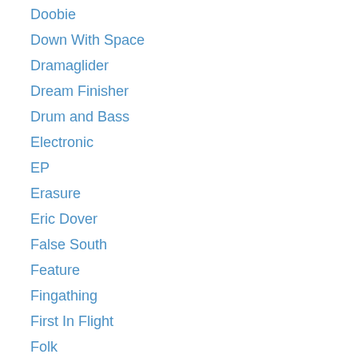Doobie
Down With Space
Dramaglider
Dream Finisher
Drum and Bass
Electronic
EP
Erasure
Eric Dover
False South
Feature
Fingathing
First In Flight
Folk
Frankie Siragusa
General
Gentle Party
Germany
Glasgow